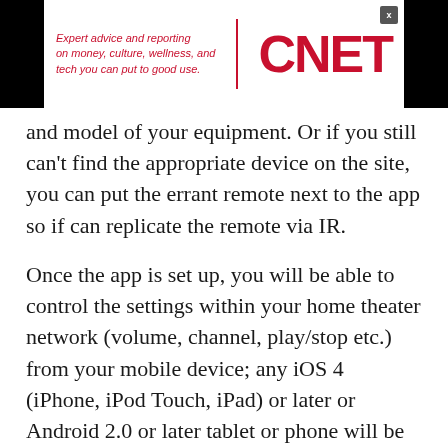[Figure (logo): CNET advertisement banner with red italic tagline text 'Expert advice and reporting on money, culture, wellness, and tech you can put to good use.' and large red CNET logo]
and model of your equipment. Or if you still can't find the appropriate device on the site, you can put the errant remote next to the app so if can replicate the remote via IR.
Once the app is set up, you will be able to control the settings within your home theater network (volume, channel, play/stop etc.) from your mobile device; any iOS 4 (iPhone, iPod Touch, iPad) or later or Android 2.0 or later tablet or phone will be able to be able to run this app and double as an universal remote. When the TV guide feature extends beyond the iPad, you will also be able to browse through the more graphically interesting